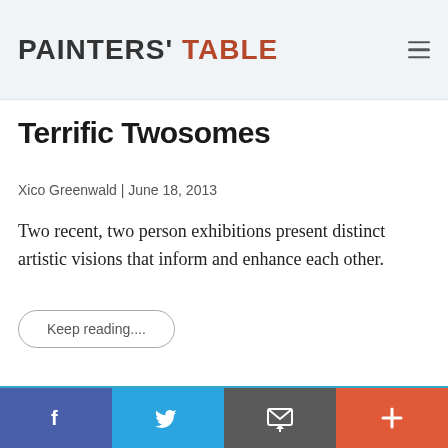PAINTERS' TABLE
Terrific Twosomes
Xico Greenwald | June 18, 2013
Two recent, two person exhibitions present distinct artistic visions that inform and enhance each other.
Keep reading....
[Figure (photo): Abstract painting with blues and teals showing marine or coastal scene with textured impasto technique]
f  (Twitter bird)  (email icon)  +